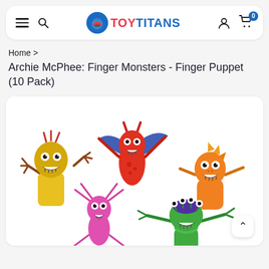Toy Titans — navigation bar with hamburger menu, search, logo, user account, and cart (0 items)
Home >
Archie McPhee: Finger Monsters - Finger Puppet (10 Pack)
[Figure (photo): Product photo showing five colorful monster finger puppets: a yellow monster with wild hair and big smile, a red dragon-style monster with wings, an orange spiky monster, a pink multi-limbed bug monster, and a green many-eyed monster.]